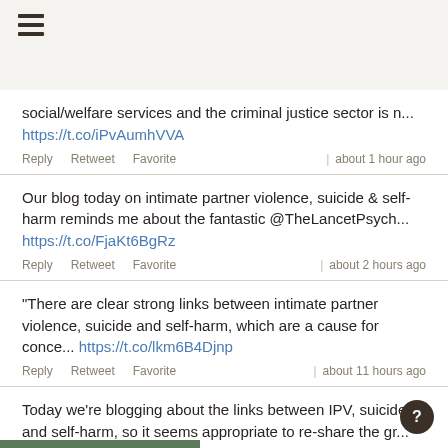social/welfare services and the criminal justice sector is n... https://t.co/iPvAumhVVA
Reply  Retweet  Favorite  | about 1 hour ago
Our blog today on intimate partner violence, suicide & self-harm reminds me about the fantastic @TheLancetPsych... https://t.co/FjaKt6BgRz
Reply  Retweet  Favorite  | about 2 hours ago
"There are clear strong links between intimate partner violence, suicide and self-harm, which are a cause for conce... https://t.co/lkm6B4Djnp
Reply  Retweet  Favorite  | about 11 hours ago
Today we're blogging about the links between IPV, suicide and self-harm, so it seems appropriate to re-share the gr... https://t.co/fzCG7scezJ
Reply  Retweet  Favorite  | about 11 hours ago